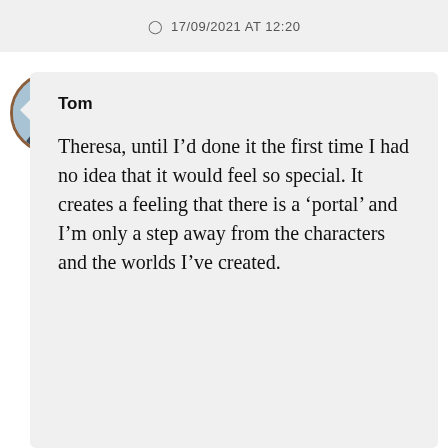17/09/2021 AT 12:20
Tom
Theresa, until I'd done it the first time I had no idea that it would feel so special. It creates a feeling that there is a 'portal' and I'm only a step away from the characters and the worlds I've created.